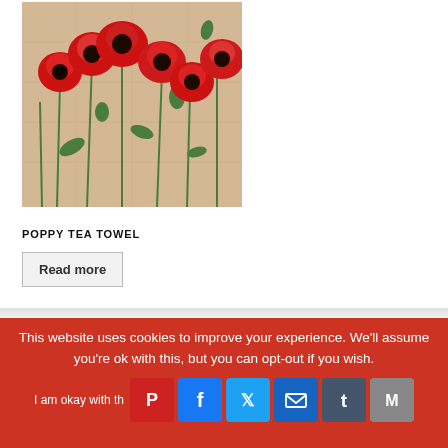[Figure (photo): A tea towel featuring red poppy flowers on a beige/natural linen background. Multiple red poppies with green stems and leaves arranged in a row.]
POPPY TEA TOWEL
Read more
This website uses cookies to improve your experience. We'll assume you're ok with this, but you can opt-out if you wish.
I am okay with this